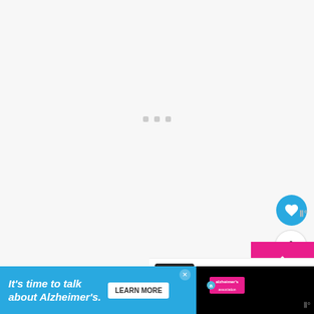[Figure (screenshot): Loading screen with three small grey dots centered on a light grey background]
[Figure (screenshot): Blue circular like/heart button with white heart icon, count badge showing 1, pink circular plus button with blue dot, pink scroll-up button with chevron, and 'What's Next' panel showing Friday Debate thumbnail and teaser text]
[Figure (screenshot): Advertisement banner: black background with teal/cyan panel reading 'It’s time to talk about Alzheimer’s.' with Learn More button, Alzheimer's Association logo, close X button, and Metaweather logo]
WHAT'S NEXT →
Friday Debate – What was...